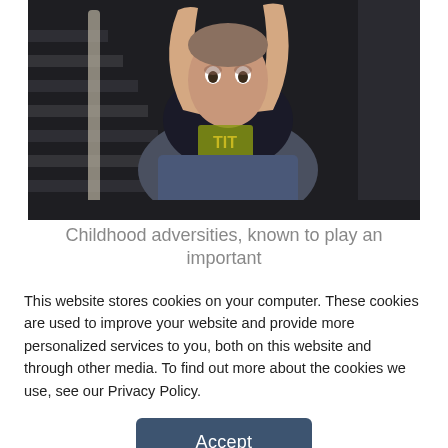[Figure (photo): A young boy sitting on stairs with his arms raised and hands pressing against his head, looking distressed. He wears a dark t-shirt with yellow graphic. Dark moody lighting.]
Childhood adversities, known to play an important role in mental and physical health, are also
This website stores cookies on your computer. These cookies are used to improve your website and provide more personalized services to you, both on this website and through other media. To find out more about the cookies we use, see our Privacy Policy.